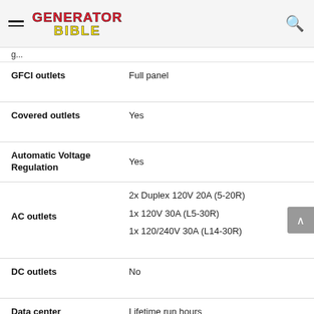Generator Bible
| Specification | Value |
| --- | --- |
| GFCI outlets | Full panel |
| Covered outlets | Yes |
| Automatic Voltage Regulation | Yes |
| AC outlets | 2x Duplex 120V 20A (5-20R)
1x 120V 30A (L5-30R)
1x 120/240V 30A (L14-30R) |
| DC outlets | No |
| Data center | Lifetime run hours |
| Indicators | No |